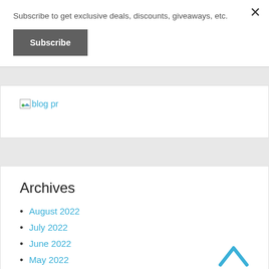Subscribe to get exclusive deals, discounts, giveaways, etc.
Subscribe
[Figure (other): Broken image placeholder with link text 'blog pr']
Archives
August 2022
July 2022
June 2022
May 2022